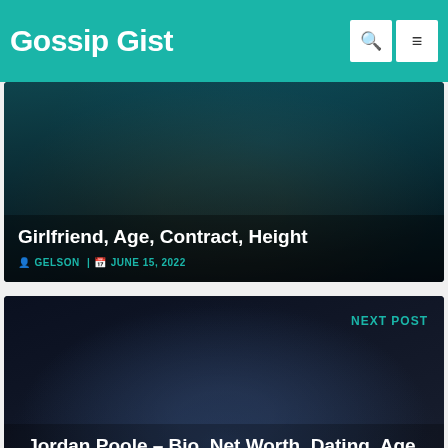Gossip Gist
Girlfriend, Age, Contract, Height
GELSON | JUNE 15, 2022
NEXT POST
Jordan Poole – Bio, Net Worth, Dating, Age, Height, Career, Parents
LIAM | JUNE 15, 2022